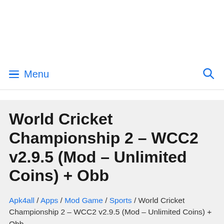≡ Menu  🔍
World Cricket Championship 2 – WCC2 v2.9.5 (Mod – Unlimited Coins) + Obb
Apk4all / Apps / Mod Game / Sports / World Cricket Championship 2 – WCC2 v2.9.5 (Mod – Unlimited Coins) + Obb